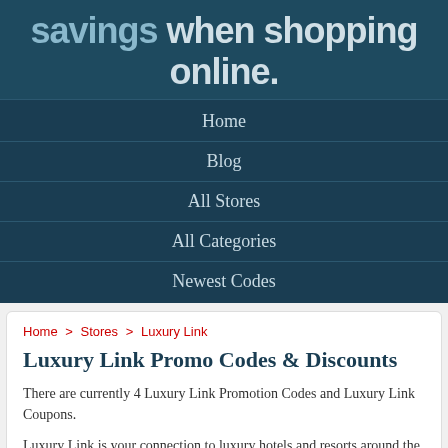savings when shopping online.
Home
Blog
All Stores
All Categories
Newest Codes
Home > Stores > Luxury Link
Luxury Link Promo Codes & Discounts
There are currently 4 Luxury Link Promotion Codes and Luxury Link Coupons.
Luxury Link is your connection to luxury hotels and resorts around the world. Luxury Link only works with